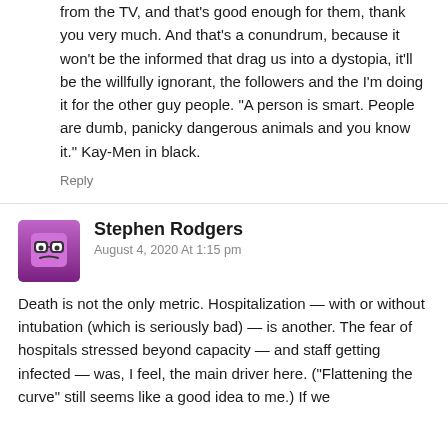from the TV, and that's good enough for them, thank you very much. And that's a conundrum, because it won't be the informed that drag us into a dystopia, it'll be the willfully ignorant, the followers and the I'm doing it for the other guy people. "A person is smart. People are dumb, panicky dangerous animals and you know it." Kay- Men in black.
Reply
Stephen Rodgers
August 4, 2020 At 1:15 pm
Death is not the only metric. Hospitalization — with or without intubation (which is seriously bad) — is another. The fear of hospitals stressed beyond capacity — and staff getting infected — was, I feel, the main driver here. ("Flattening the curve" still seems like a good idea to me.) If we